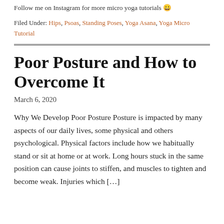Follow me on Instagram for more micro yoga tutorials 🙂
Filed Under: Hips, Psoas, Standing Poses, Yoga Asana, Yoga Micro Tutorial
Poor Posture and How to Overcome It
March 6, 2020
Why We Develop Poor Posture Posture is impacted by many aspects of our daily lives, some physical and others psychological. Physical factors include how we habitually stand or sit at home or at work. Long hours stuck in the same position can cause joints to stiffen, and muscles to tighten and become weak. Injuries which […]